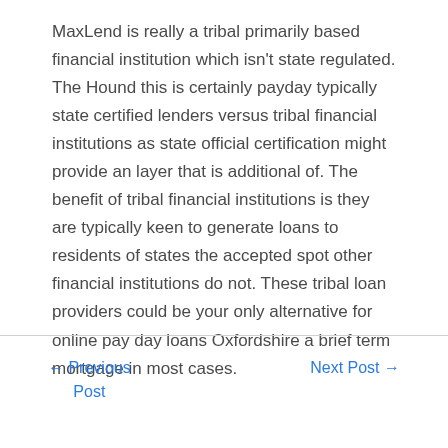MaxLend is really a tribal primarily based financial institution which isn't state regulated. The Hound this is certainly payday typically state certified lenders versus tribal financial institutions as state official certification might provide an layer that is additional of. The benefit of tribal financial institutions is they are typically keen to generate loans to residents of states the accepted spot other financial institutions do not. These tribal loan providers could be your only alternative for online pay day loans Oxfordshire a brief term mortgage in most cases.
← Previous Post    Next Post →